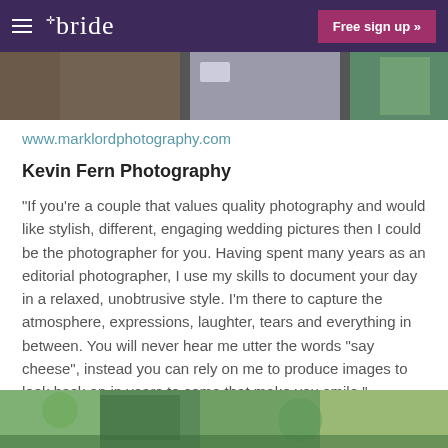bride | Free sign up »
[Figure (photo): Wedding photo strip at top of page]
www.marklordphotography.com
Kevin Fern Photography
"If you're a couple that values quality photography and would like stylish, different, engaging wedding pictures then I could be the photographer for you. Having spent many years as an editorial photographer, I use my skills to document your day in a relaxed, unobtrusive style. I'm there to capture the atmosphere, expressions, laughter, tears and everything in between. You will never hear me utter the words "say cheese", instead you can rely on me to produce images to look back on in years to come that make you smile."
[Figure (photo): Garden/outdoor wedding photo at bottom of page]